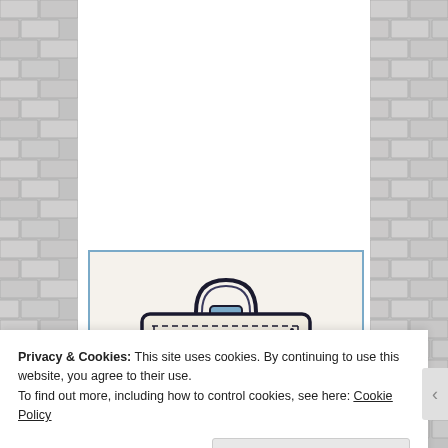[Figure (illustration): Illustration of a briefcase/satchel bag with the text '2018 WRITER' on it, drawn in a line-art style with dark navy outlines and light blue accents, on a cream/beige background, inside a blue-bordered rectangle.]
Privacy & Cookies: This site uses cookies. By continuing to use this website, you agree to their use.
To find out more, including how to control cookies, see here: Cookie Policy
Close and accept